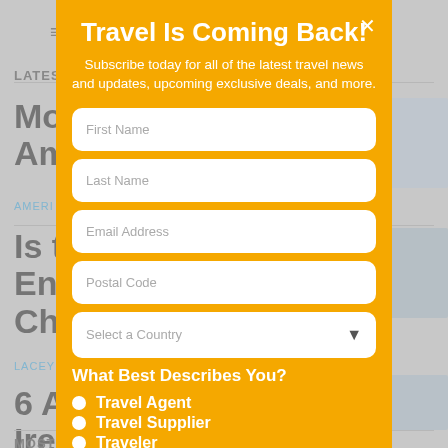[Figure (screenshot): Background of a travel news website showing headlines and article stubs, partially visible behind a modal overlay]
Travel Is Coming Back!
Subscribe today for all of the latest travel news and updates, upcoming exclusive deals, and more.
First Name
Last Name
Email Address
Postal Code
Select a Country
What Best Describes You?
Travel Agent
Travel Supplier
Traveler